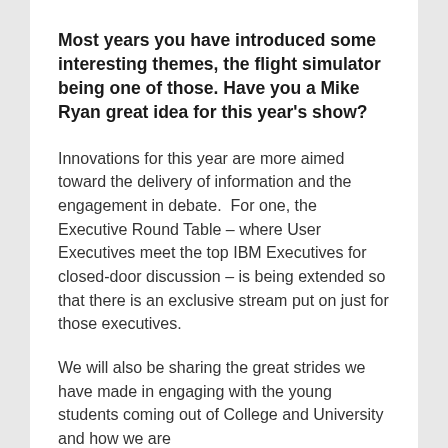Most years you have introduced some interesting themes, the flight simulator being one of those. Have you a Mike Ryan great idea for this year's show?
Innovations for this year are more aimed toward the delivery of information and the engagement in debate.  For one, the Executive Round Table – where User Executives meet the top IBM Executives for closed-door discussion – is being extended so that there is an exclusive stream put on just for those executives.
We will also be sharing the great strides we have made in engaging with the young students coming out of College and University and how we are